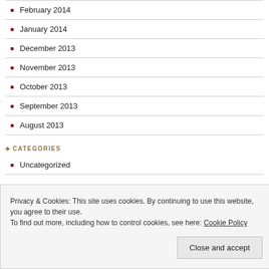February 2014
January 2014
December 2013
November 2013
October 2013
September 2013
August 2013
CATEGORIES
Uncategorized
META
Privacy & Cookies: This site uses cookies. By continuing to use this website, you agree to their use.
To find out more, including how to control cookies, see here: Cookie Policy